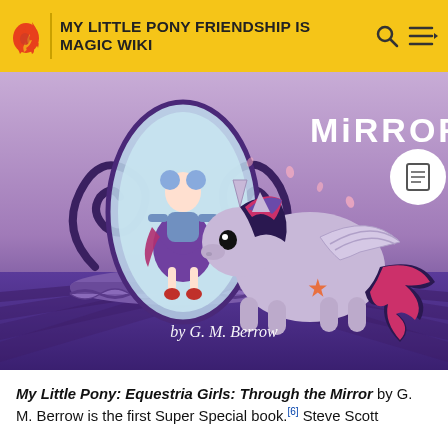MY LITTLE PONY FRIENDSHIP IS MAGIC WIKI
[Figure (illustration): Book cover of 'My Little Pony: Equestria Girls: Through the Mirror' by G. M. Berrow. Shows a pony (Twilight Sparkle) looking at a magic mirror showing a human girl (Equestria Girl). Title 'MiRROR' shown in upper right. Purple/lavender background with decorative swirls. 'by G. M. Berrow' text at bottom.]
My Little Pony: Equestria Girls: Through the Mirror by G. M. Berrow is the first Super Special book.[6] Steve Scott